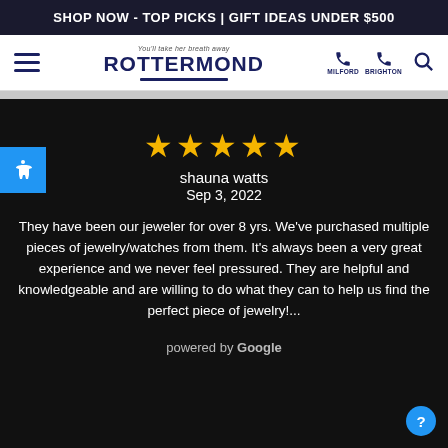SHOP NOW - TOP PICKS | GIFT IDEAS UNDER $500
[Figure (logo): Rottermond jewelers logo with tagline 'You'll take her breath away', hamburger menu, phone icons for Milford and Brighton locations, and search icon]
[Figure (other): Five gold star rating for reviewer shauna watts, Sep 3, 2022]
shauna watts
Sep 3, 2022
They have been our jeweler for over 8 yrs. We've purchased multiple pieces of jewelry/watches from them. It's always been a very great experience and we never feel pressured. They are helpful and knowledgeable and are willing to do what they can to help us find the perfect piece of jewelry!...
powered by Google